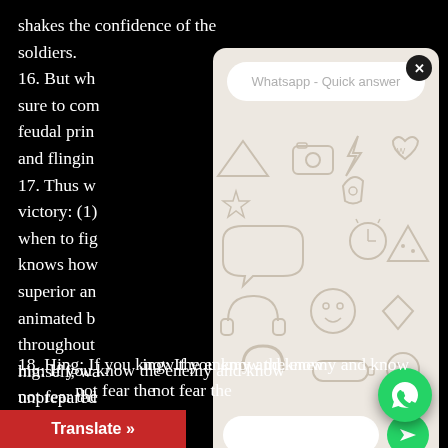shakes the confidence of the soldiers.
16. But whe[n...] sure to com[e...] feudal prin[ce...] and flinging[...]
17. Thus w[...] victory: (1) [...] when to fig[ht...] knows how[...] superior an[d...] animated by[...] throughout[...] himself, wa[...] unprepared[...] not interfered with by the sovereign.
[Figure (screenshot): WhatsApp Quick Answer popup overlay showing header 'Whatsapp - Quick answer', a doodle/pattern background, an empty message input field, and a green send button]
[Figure (screenshot): WhatsApp green floating action button (phone/chat icon) at bottom right]
18. H[ence the say]ing: If you know the enemy and know [yourself, you need] not fear the
Translate »